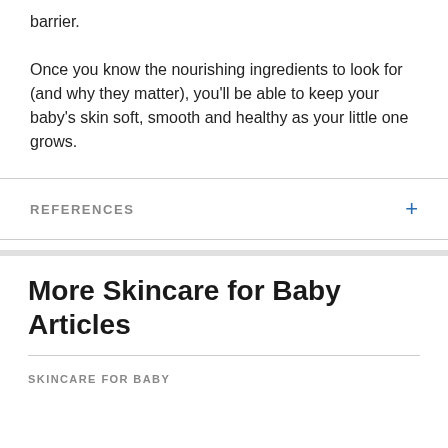barrier.
Once you know the nourishing ingredients to look for (and why they matter), you'll be able to keep your baby's skin soft, smooth and healthy as your little one grows.
REFERENCES
More Skincare for Baby Articles
SKINCARE FOR BABY